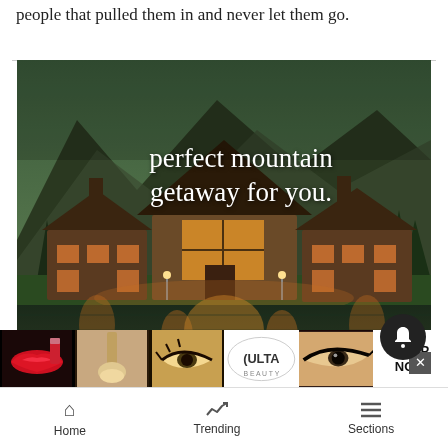people that pulled them in and never let them go.
[Figure (photo): Mountain lodge / log cabin at dusk with reflection in a lake, overlaid with white serif text reading 'perfect mountain getaway for you.']
[Figure (photo): Ulta Beauty advertisement banner showing makeup images (lips, brush, eyes, Ulta logo, eye close-up) and a SHOP NOW button]
Home   Trending   Sections